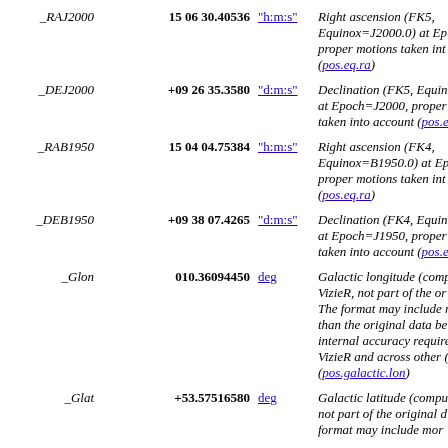| Name | Value | Unit | Description |
| --- | --- | --- | --- |
| _RAJ2000 | 15 06 30.40536 | "h:m:s" | Right ascension (FK5, Equinox=J2000.0) at Epoch=J2000, proper motions taken into account (pos.eq.ra) |
| _DEJ2000 | +09 26 35.3580 | "d:m:s" | Declination (FK5, Equinox=J2000.0) at Epoch=J2000, proper motions taken into account (pos.eq.dec) |
| _RAB1950 | 15 04 04.75384 | "h:m:s" | Right ascension (FK4, Equinox=B1950.0) at Epoch=J1950, proper motions taken into account (pos.eq.ra) |
| _DEB1950 | +09 38 07.4265 | "d:m:s" | Declination (FK4, Equinox=B1950.0) at Epoch=J1950, proper motions taken into account (pos.eq.dec) |
| _Glon | 010.36094450 | deg | Galactic longitude (computed by VizieR, not part of the original data). The format may include more digits than the original data because of internal accuracy requirements in VizieR and across other catalogues (pos.galactic.lon) |
| _Glat | +53.57516580 | deg | Galactic latitude (computed by VizieR, not part of the original data). The format may include more |